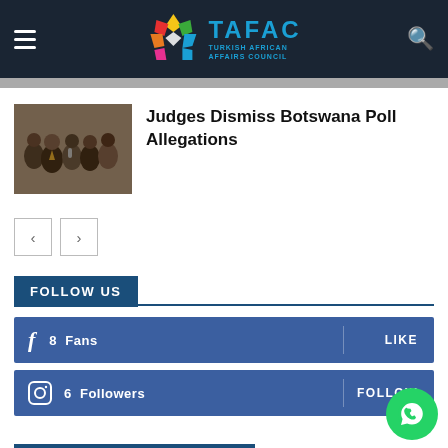TAFAC - Turkish African Affairs Council
[Figure (photo): Group of people at an event, appearing to be officials or journalists]
Judges Dismiss Botswana Poll Allegations
FOLLOW US
8  Fans  LIKE
6  Followers  FOLLOW
ANNOUNCEMENTS OF TAFAC'S